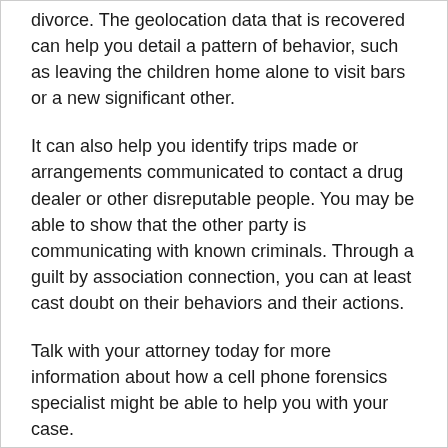divorce. The geolocation data that is recovered can help you detail a pattern of behavior, such as leaving the children home alone to visit bars or a new significant other.
It can also help you identify trips made or arrangements communicated to contact a drug dealer or other disreputable people. You may be able to show that the other party is communicating with known criminals. Through a guilt by association connection, you can at least cast doubt on their behaviors and their actions.
Talk with your attorney today for more information about how a cell phone forensics specialist might be able to help you with your case.